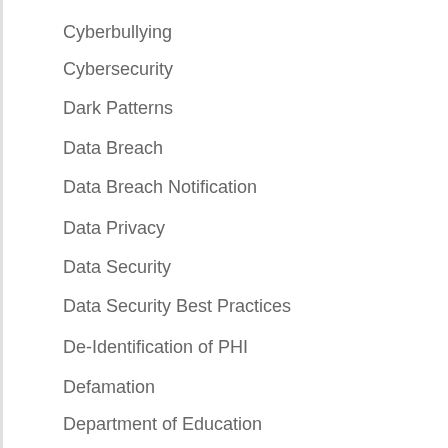Cyberbullying
Cybersecurity
Dark Patterns
Data Breach
Data Breach Notification
Data Privacy
Data Security
Data Security Best Practices
De-Identification of PHI
Defamation
Department of Education